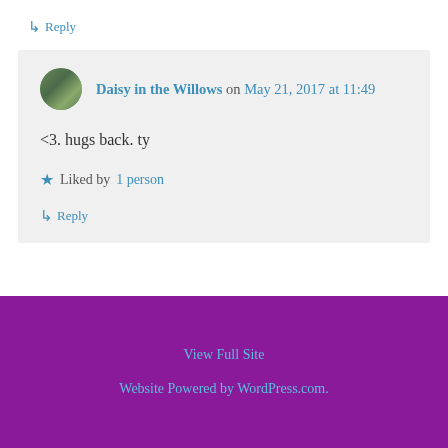↳ Reply
Daisy in the Willows on May 21, 2017 at 11:49
<3. hugs back. ty
★ Liked by 1 person
↳ Reply
View Full Site
Website Powered by WordPress.com.